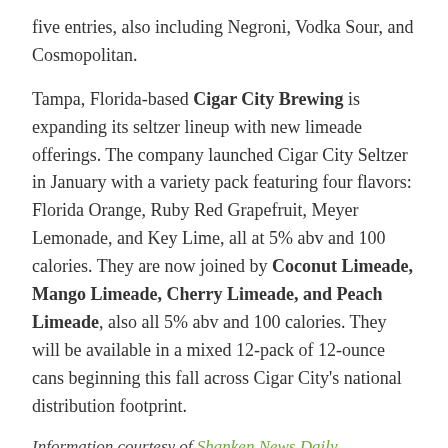five entries, also including Negroni, Vodka Sour, and Cosmopolitan.
Tampa, Florida-based Cigar City Brewing is expanding its seltzer lineup with new limeade offerings. The company launched Cigar City Seltzer in January with a variety pack featuring four flavors: Florida Orange, Ruby Red Grapefruit, Meyer Lemonade, and Key Lime, all at 5% abv and 100 calories. They are now joined by Coconut Limeade, Mango Limeade, Cherry Limeade, and Peach Limeade, also all 5% abv and 100 calories. They will be available in a mixed 12-pack of 12-ounce cans beginning this fall across Cigar City's national distribution footprint.
Information courtesy of Shanken News Daily
Share this:
Twitter | LinkedIn | Tumblr | Pinterest | More